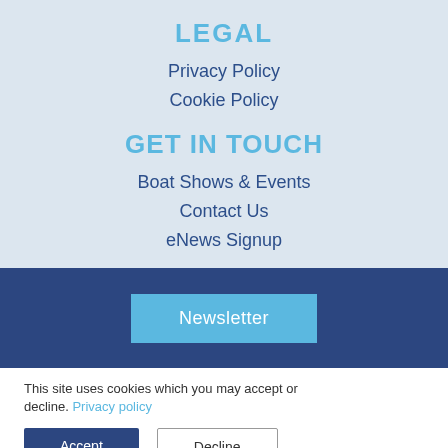LEGAL
Privacy Policy
Cookie Policy
GET IN TOUCH
Boat Shows & Events
Contact Us
eNews Signup
Newsletter
This site uses cookies which you may accept or decline. Privacy policy
Accept
Decline